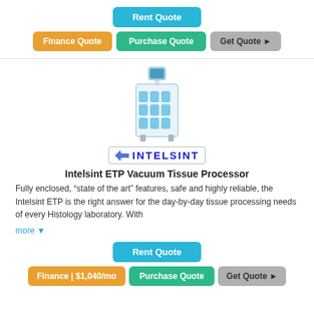[Figure (other): Rent Quote button (cyan/teal)]
[Figure (other): Finance Quote (orange), Purchase Quote (green), Get Quote (gray) buttons]
[Figure (photo): Photo of Intelsint ETP Vacuum Tissue Processor machine]
[Figure (logo): Intelsint logo with arrows icon and blue uppercase text]
Intelsint ETP Vacuum Tissue Processor
Fully enclosed, “state of the art” features, safe and highly reliable, the Intelsint ETP is the right answer for the day-by-day tissue processing needs of every Histology laboratory. With
more ▾
[Figure (other): Rent Quote button (cyan/teal)]
[Figure (other): Finance | $1,040/mo (orange), Purchase Quote (green), Get Quote (gray) buttons]